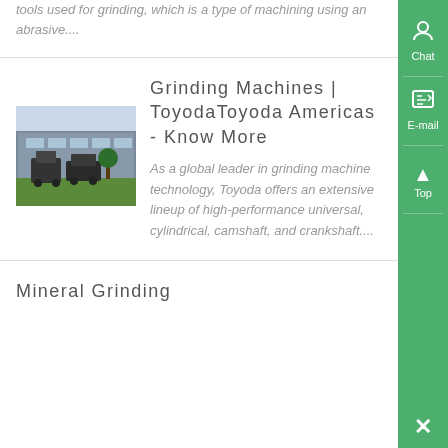tools used for grinding, which is a type of machining using an abrasive....
Grinding Machines | ToyodaToyoda Americas - Know More
[Figure (photo): Photo of industrial grinding machines/equipment outside a building]
As a global leader in grinding machine technology, Toyoda offers an extensive lineup of high-performance universal, cylindrical, camshaft, and crankshaft....
Mineral Grinding